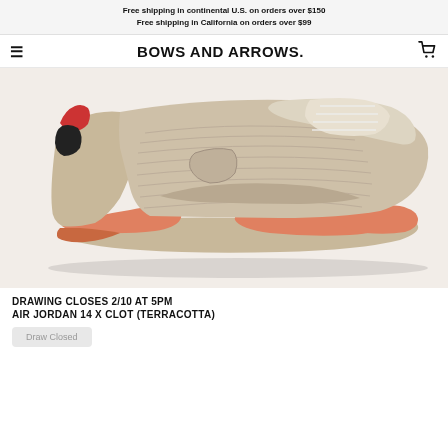Free shipping in continental U.S. on orders over $150
Free shipping in California on orders over $99
BOWS AND ARROWS.
[Figure (photo): Side profile photo of Air Jordan 14 x CLOT Terracotta sneaker on white/light grey background. The shoe has a beige/tan suede upper with salmon/terracotta orange midsole accents and a matching outsole. A small red and black element is visible at the heel.]
DRAWING CLOSES 2/10 AT 5PM
AIR JORDAN 14 X CLOT (TERRACOTTA)
Draw Closed